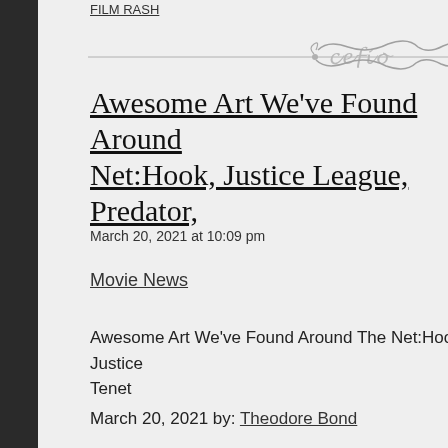FILM RASH
[Figure (illustration): Decorative divider line with ornamental scroll design in gray]
Awesome Art We've Found Around The Net:Hook, Justice League, Predator,
March 20, 2021 at 10:09 pm
Movie News
Awesome Art We've Found Around The Net:Hook, Justice League, Predator, Tenet
March 20, 2021 by: Theodore Bond
Some cliche somewhere said that 'a picture is worth a th... has proven to be the case for me and especially when it co... always sought out great fan art and have wanted to share... as possible. "Awesome Art We've Found Around The Net"